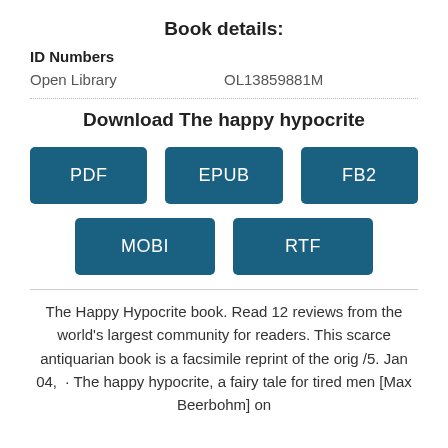Book details:
ID Numbers
|  |  |
| --- | --- |
| Open Library | OL13859881M |
Download The happy hypocrite
[Figure (other): Download buttons: PDF, EPUB, FB2, MOBI, RTF]
The Happy Hypocrite book. Read 12 reviews from the world’s largest community for readers. This scarce antiquarian book is a facsimile reprint of the orig /5. Jan 04,  · The happy hypocrite, a fairy tale for tired men [Max Beerbohm] on